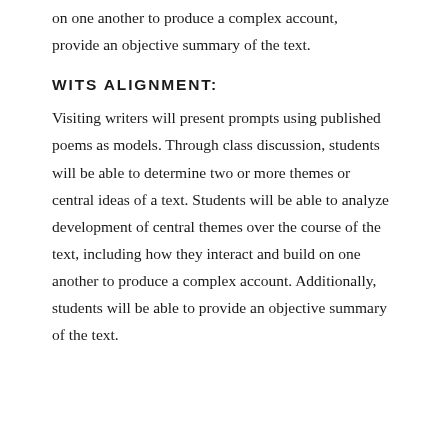on one another to produce a complex account, provide an objective summary of the text.
WITS ALIGNMENT:
Visiting writers will present prompts using published poems as models. Through class discussion, students will be able to determine two or more themes or central ideas of a text. Students will be able to analyze development of central themes over the course of the text, including how they interact and build on one another to produce a complex account. Additionally, students will be able to provide an objective summary of the text.